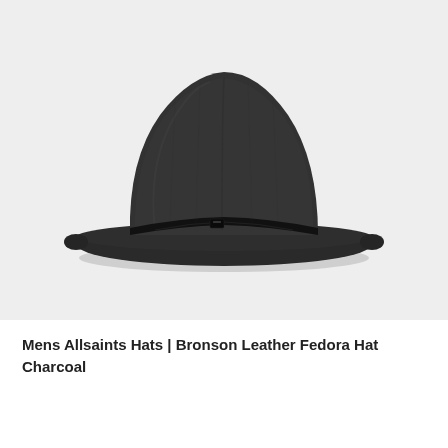[Figure (photo): A dark charcoal gray wool fedora hat with a black leather band around the base of the crown, photographed on a light gray background. The hat has a medium brim and a classic fedora shape.]
Mens Allsaints Hats | Bronson Leather Fedora Hat Charcoal